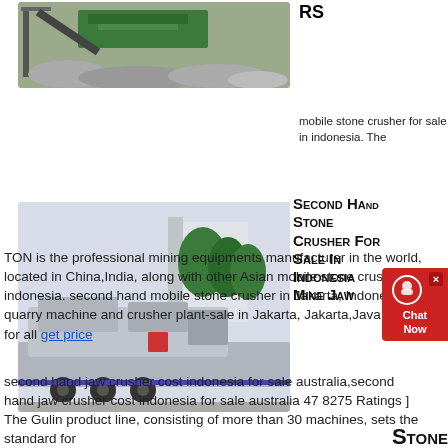[Figure (photo): Industrial stone crusher machine with green equipment and rocks/gravel at a mining site]
RS
mobile stone crusher for sale in indonesia. The TON is the professional mining equipments manufacturer in the world, located in China,India, along with other Asian mobile stone crusher indonesia. second hand mobile stone crusher in Jakarta, Indonesia quarry machine and crusher plant-sale in Jakarta, Jakarta,Java,Indonesia for all get price
[Figure (photo): Mobile stone crusher mounted on a truck/trailer, parked outdoors with trees in background]
Second Hand Stone Crusher For Sale In Indonesia Mine Jaw
second hand jaw crusher cost indonesia for sale australia,second hand jaw crusher cost indonesia for sale australia 47 8275 Ratings ] The Gulin product line, consisting of more than 30 machines, sets the standard for
STONE